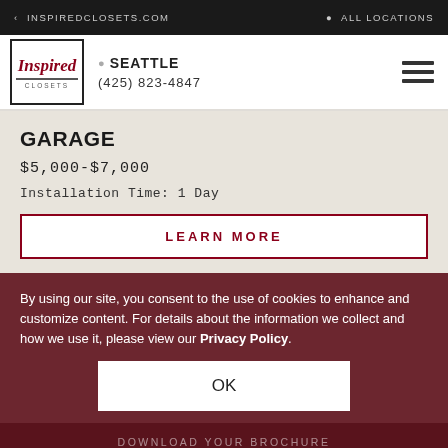< INSPIREDCLOSETS.COM | ALL LOCATIONS
[Figure (logo): Inspired Closets logo in a bordered box]
SEATTLE
(425) 823-4847
GARAGE
$5,000-$7,000
Installation Time: 1 Day
LEARN MORE
By using our site, you consent to the use of cookies to enhance and customize content. For details about the information we collect and how we use it, please view our Privacy Policy.
OK
DOWNLOAD YOUR BROCHURE